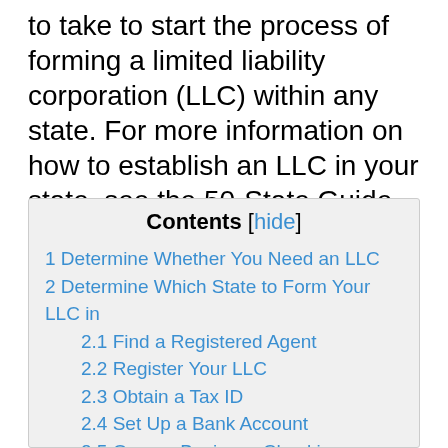to take to start the process of forming a limited liability corporation (LLC) within any state. For more information on how to establish an LLC in your state, see the 50-State Guide for forming an LLC.
Contents [hide]
1 Determine Whether You Need an LLC
2 Determine Which State to Form Your LLC in
2.1 Find a Registered Agent
2.2 Register Your LLC
2.3 Obtain a Tax ID
2.4 Set Up a Bank Account
2.5 Open a Business Checking Account
2.6 Open a Business Savings Account